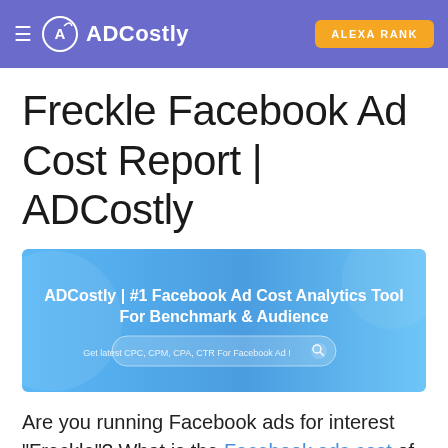≡ ADCostly  ALEXA RANK
Freckle Facebook Ad Cost Report | ADCostly
[Figure (screenshot): ADCostly banner with text: ADCostly | #1 Facebook Ad Cost Analytics Tool For Benchmark & Audience, with a search bar saying 'Get latest CPC, CPM, CPA, CTR For Facebook Ad !']
Are you running Facebook ads for interest "Freckle"? What is the Facebook ads cost of